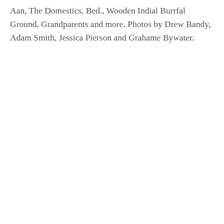Aan, The Domestics, Bed., Wooden Indial Burrfal Ground, Grandparents and more. Photos by Drew Bandy, Adam Smith, Jessica Pierson and Grahame Bywater.